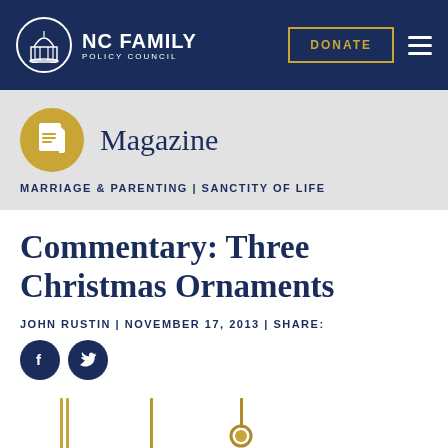NC FAMILY POLICY COUNCIL | DONATE
Magazine
MARRIAGE & PARENTING | SANCTITY OF LIFE
Commentary: Three Christmas Ornaments
JOHN RUSTIN | NOVEMBER 17, 2013 | SHARE:
[Figure (photo): Three Christmas ornaments hanging, shown partially at the bottom of the page]